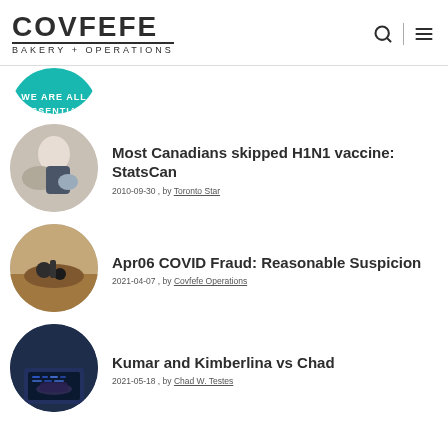COVFEFE BAKERY + OPERATIONS
[Figure (illustration): Circular thumbnail: teal circle with 'WE ARE ALL ESSENTIAL' text, partially cropped]
[Figure (photo): Circular thumbnail: person handling items, medical/bakery context]
Most Canadians skipped H1N1 vaccine: StatsCan
2010-09-30 , by Toronto Star
[Figure (photo): Circular thumbnail: hands with dark object on wooden surface]
Apr06 COVID Fraud: Reasonable Suspicion
2021-04-07 , by Covfefe Operations
[Figure (photo): Circular thumbnail: person typing on laptop with blue-lit keyboard]
Kumar and Kimberlina vs Chad
2021-05-18 , by Chad W. Testes